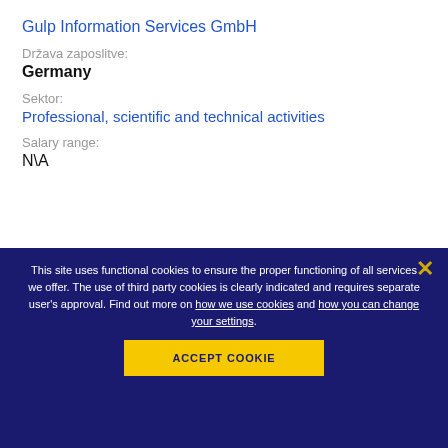Gulp Information Services GmbH
Država zaposlitve:
Germany
Sektor:
Professional, scientific and technical activities
Salary range:
N\A
This site uses functional cookies to ensure the proper functioning of all services we offer. The use of third party cookies is clearly indicated and requires separate user's approval. Find out more on how we use cookies and how you can change your settings.
ACCEPT COOKIE